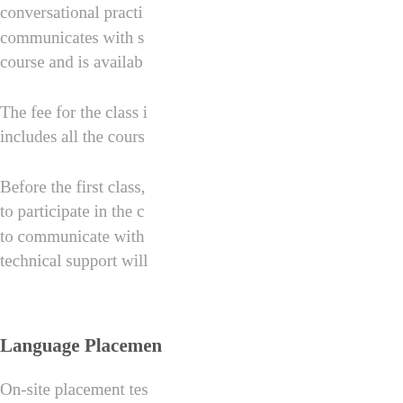conversational practice, communicates with students throughout the course and is available
The fee for the class includes all the course
Before the first class, to participate in the c to communicate with technical support will
Language Placement
On-site placement testing find the level inappropriate language course, you accompanied by a letter